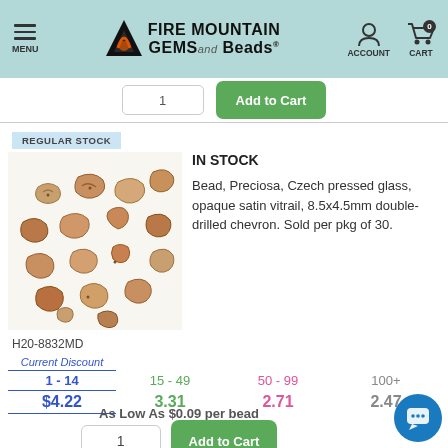Fire Mountain Gems and Beads - MENU | ACCOUNT | CART 0
[Figure (screenshot): Add to Cart bar with quantity input and green Add to Cart button]
REGULAR STOCK
[Figure (photo): Photo of Preciosa Czech pressed glass opaque satin vitrail chevron beads, tan/gold color, scattered on white background]
IN STOCK
Bead, Preciosa, Czech pressed glass, opaque satin vitrail, 8.5x4.5mm double-drilled chevron. Sold per pkg of 30.
H20-8832MD
| Current Discount | 15 - 49 | 50 - 99 | 100+ |
| --- | --- | --- | --- |
| 1 - 14 | 15 - 49 | 50 - 99 | 100+ |
| $4.22 | 3.31 | 2.71 | 2.47 |
As Low As $0.09 per bead
1  Add to Cart